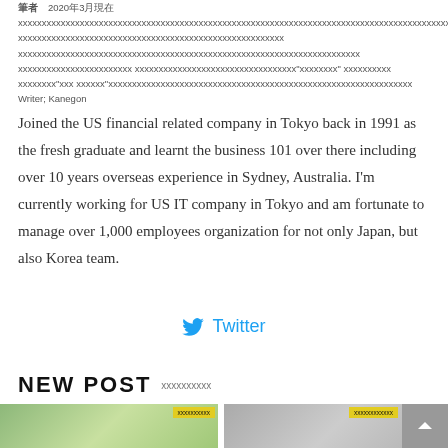筆者　2020年3月現在 xxxxxxxxxxxxxxxxxxxxxxxxxxxxxxxxxxxxxxxxxxxxxxxxxxxxxx xxxxxxxxxxxxxxxxxxxxxxxxxxxxxxxxxxxxxxxxxxxxxxxxxx xxxxxxxxxxxxxxxx xxxxxxxxxxxxxxxxxxxxxxxxxxxxxx"xxxxxxxx" xxxxxxxxxx xxxxxxxx"xxx xxxxxx"xxxxxxxxxxxxxxxxxxxxxxxxxxxxxxxxxxxxxxxxxxxxxxxx Writer; Kanegon
Joined the US financial related company in Tokyo back in 1991 as the fresh graduate and learnt the business 101 over there including over 10 years overseas experience in Sydney, Australia. I'm currently working for US IT company in Tokyo and am fortunate to manage over 1,000 employees organization for not only Japan, but also Korea team.
Twitter
NEW POST　xxxxxxxxxx
[Figure (photo): Photo of an open book outdoors with green foliage background, with yellow tag overlay showing Japanese text]
[Figure (photo): Photo of a man in a suit against a wall, with yellow tag overlay showing Japanese text, and a grey scroll-to-top button]